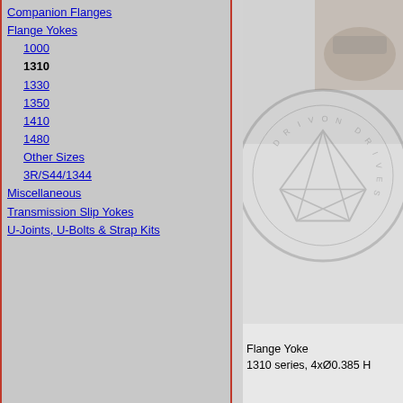Companion Flanges
Flange Yokes
1000
1310
1330
1350
1410
1480
Other Sizes
3R/S44/1344
Miscellaneous
Transmission Slip Yokes
U-Joints, U-Bolts & Strap Kits
[Figure (photo): Flange Yoke product photo with circular Drivon Drives watermark logo overlay, showing a metal flange yoke component]
Flange Yoke
1310 series, 4xØ0.385 H